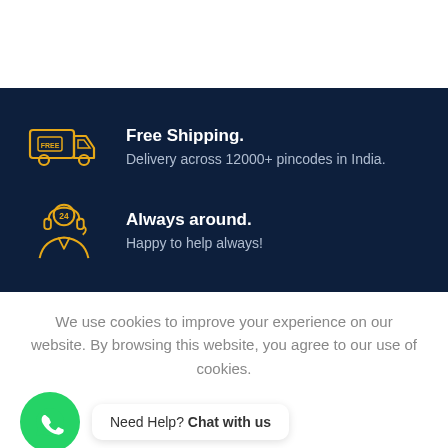[Figure (infographic): Free shipping icon - orange delivery truck with FREE label on dark navy background]
Free Shipping.
Delivery across 12000+ pincodes in India.
[Figure (infographic): 24/7 support icon - orange person with headset and '24' label on dark navy background]
Always around.
Happy to help always!
We use cookies to improve your experience on our website. By browsing this website, you agree to our use of cookies.
[Figure (logo): Green WhatsApp circle icon]
Need Help? Chat with us
ACCEPT